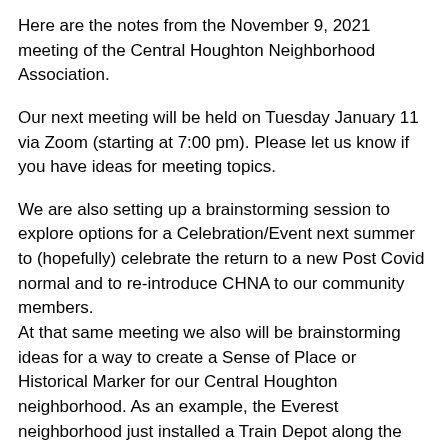Here are the notes from the November 9, 2021 meeting of the Central Houghton Neighborhood Association.
Our next meeting will be held on Tuesday January 11 via Zoom (starting at 7:00 pm). Please let us know if you have ideas for meeting topics.
We are also setting up a brainstorming session to explore options for a Celebration/Event next summer to (hopefully) celebrate the return to a new Post Covid normal and to re-introduce CHNA to our community members.
At that same meeting we also will be brainstorming ideas for a way to create a Sense of Place or Historical Marker for our Central Houghton neighborhood. As an example, the Everest neighborhood just installed a Train Depot along the Cross Kirkland Corridor Trail.
Please let us know (centralhoughton@gmail.com) if you have any ideas and if you would like to participate in a brainstorming session. I promise, your participation in the brainstorming session will NOT commit you to helping with implementation (although that would also be great).